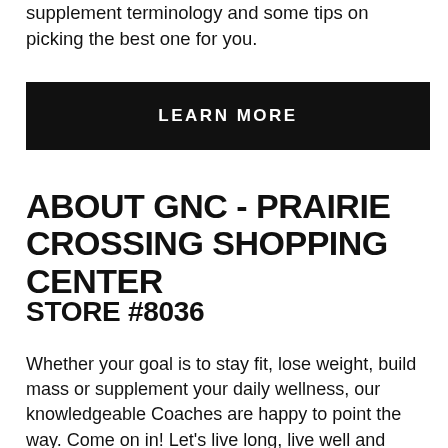supplement terminology and some tips on picking the best one for you.
LEARN MORE
ABOUT GNC - PRAIRIE CROSSING SHOPPING CENTER
STORE #8036
Whether your goal is to stay fit, lose weight, build mass or supplement your daily wellness, our knowledgeable Coaches are happy to point the way. Come on in! Let's live long, live well and make it a community endeavor!
Come visit us at our 624 Randall Rd store in South